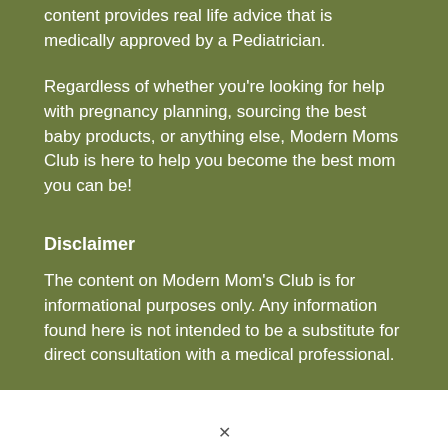content provides real life advice that is medically approved by a Pediatrician.
Regardless of whether you're looking for help with pregnancy planning, sourcing the best baby products, or anything else, Modern Moms Club is here to help you become the best mom you can be!
Disclaimer
The content on Modern Mom's Club is for informational purposes only. Any information found here is not intended to be a substitute for direct consultation with a medical professional.
Modern Mom's Club is a participant in the Amazon Services LLC Associates Program, an affiliate